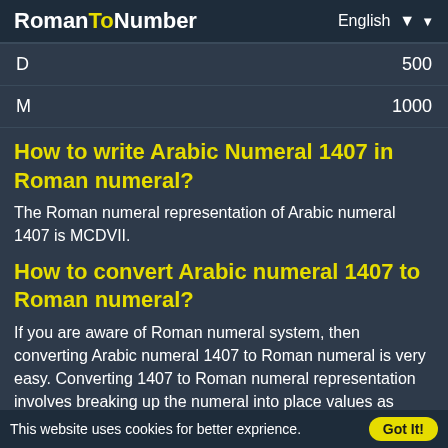RomanToNumber | English
| Roman | Value |
| --- | --- |
| D | 500 |
| M | 1000 |
How to write Arabic Numeral 1407 in Roman numeral?
The Roman numeral representation of Arabic numeral 1407 is MCDVII.
How to convert Arabic numeral 1407 to Roman numeral?
If you are aware of Roman numeral system, then converting Arabic numeral 1407 to Roman numeral is very easy. Converting 1407 to Roman numeral representation involves breaking up the numeral into place values as shown below.
1407
This website uses cookies for better exprience. Got It!